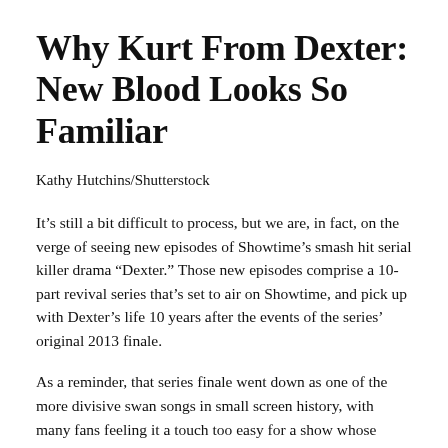Why Kurt From Dexter: New Blood Looks So Familiar
Kathy Hutchins/Shutterstock
It’s still a bit difficult to process, but we are, in fact, on the verge of seeing new episodes of Showtime’s smash hit serial killer drama “Dexter.” Those new episodes comprise a 10-part revival series that’s set to air on Showtime, and pick up with Dexter’s life 10 years after the events of the series’ original 2013 finale.
As a reminder, that series finale went down as one of the more divisive swan songs in small screen history, with many fans feeling it a touch too easy for a show whose moral compass knew no true North — particularly in the context of the original’s infamous...